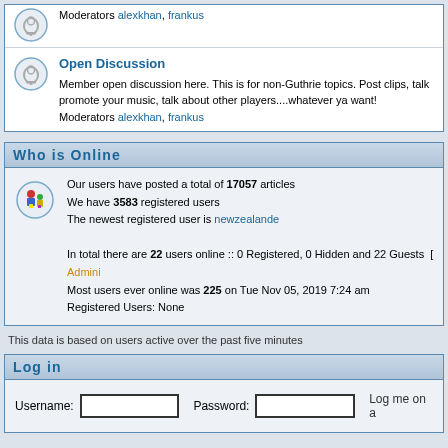Moderators alexkhan, frankus
Open Discussion
Member open discussion here. This is for non-Guthrie topics. Post clips, talk promote your music, talk about other players....whatever ya want!
Moderators alexkhan, frankus
Who is Online
Our users have posted a total of 17057 articles
We have 3583 registered users
The newest registered user is newzealande
In total there are 22 users online :: 0 Registered, 0 Hidden and 22 Guests [ Admini
Most users ever online was 225 on Tue Nov 05, 2019 7:24 am
Registered Users: None
This data is based on users active over the past five minutes
Log in
Username: [input] Password: [input] Log me on a
New posts    No new posts
Powered by phpBB © 2001, 2002 phpBB Gro